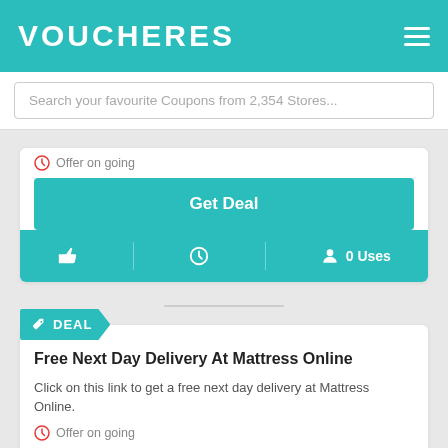VOUCHERES
Search your favourite Coupons from 2,354 Stores...
Offer on going
Get Deal
0 Uses
[Figure (screenshot): Deal card with DEAL badge, title 'Free Next Day Delivery At Mattress Online', description text, Offer on going label, and Get Deal button]
DEAL
Free Next Day Delivery At Mattress Online
Click on this link to get a free next day delivery at Mattress Online.
Offer on going
Get Deal